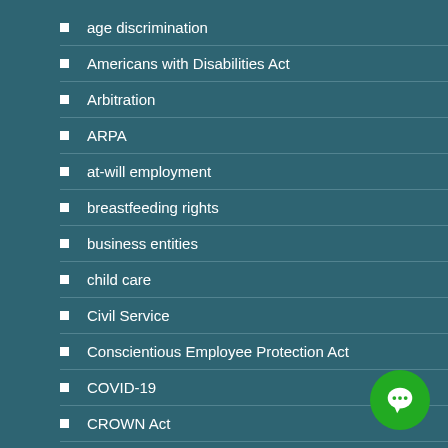age discrimination
Americans with Disabilities Act
Arbitration
ARPA
at-will employment
breastfeeding rights
business entities
child care
Civil Service
Conscientious Employee Protection Act
COVID-19
CROWN Act
disability discrimination